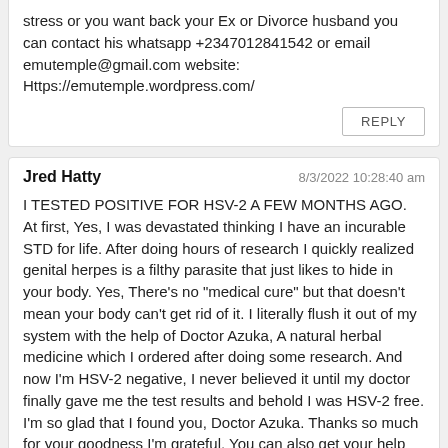stress or you want back your Ex or Divorce husband you can contact his whatsapp +2347012841542 or email emutemple@gmail.com website: Https://emutemple.wordpress.com/
REPLY
Jred Hatty
8/3/2022 10:28:40 am
I TESTED POSITIVE FOR HSV-2 A FEW MONTHS AGO. At first, Yes, I was devastated thinking I have an incurable STD for life. After doing hours of research I quickly realized genital herpes is a filthy parasite that just likes to hide in your body. Yes, There’s no “medical cure” but that doesn’t mean your body can’t get rid of it. I literally flush it out of my system with the help of Doctor Azuka, A natural herbal medicine which I ordered after doing some research. And now I’m HSV-2 negative, I never believed it until my doctor finally gave me the test results and behold I was HSV-2 free. I’m so glad that I found you, Doctor Azuka. Thanks so much for your goodness I’m grateful. You can also get your help from him through his Email } dr.azukasolutionhome@gmail.com WhatsApp } +2349166175418
REPLY